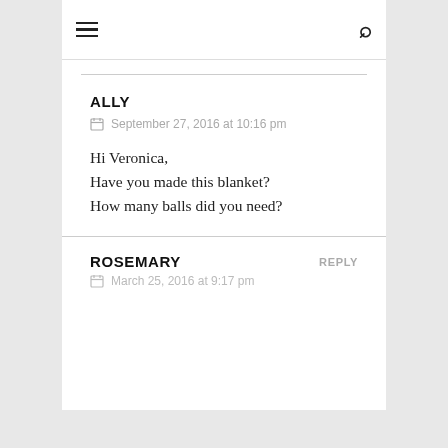≡  🔍
ALLY
September 27, 2016 at 10:16 pm
Hi Veronica,
Have you made this blanket?
How many balls did you need?
ROSEMARY
REPLY
March 25, 2016 at 9:17 pm